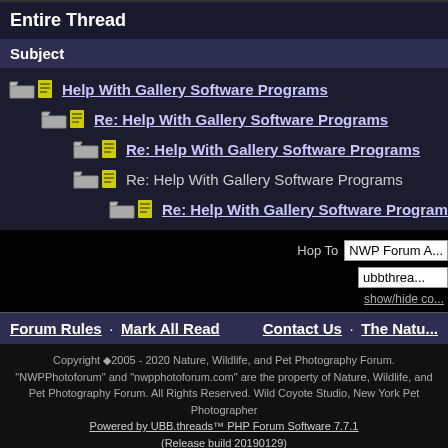Entire Thread
Subject
Help With Gallery Software Programs
Re: Help With Gallery Software Programs
Re: Help With Gallery Software Programs
Re: Help With Gallery Software Programs
Re: Help With Gallery Software Programs
Hop To  NWP Forum A...
ubbthrea...
show/hide co...
Forum Rules · Mark All Read        Contact Us · The Natu...
Copyright ©2005 - 2020 Nature, Wildlife, and Pet Photography Forum. "NWPPhotoforum" and "nwpphotoforum.com" are the property of Nature, Wildlife, and Pet Photography Forum. All Rights Reserved. Wild Coyote Studio, New York Pet Photographer
Powered by UBB.threads™ PHP Forum Software 7.7.1 (Release build 20190129)
PHP: 5.6.40-1+hw4 Page Time: 0.070s Queries: 15 (0.023s) Memory: 0.8911 MB (Peak: 1.9702 MB) Data Comp: Zlib Server Time: 2022-08-31 08:24:47 UTC